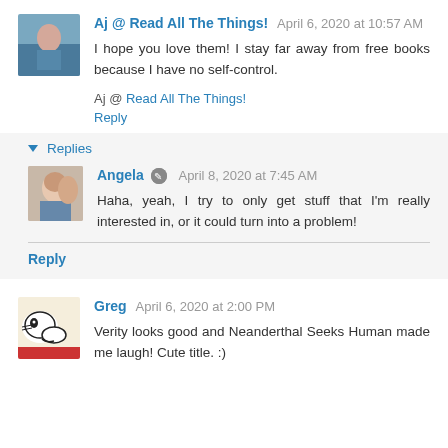Aj @ Read All The Things! April 6, 2020 at 10:57 AM
I hope you love them! I stay far away from free books because I have no self-control.
Aj @ Read All The Things!
Reply
Replies
Angela April 8, 2020 at 7:45 AM
Haha, yeah, I try to only get stuff that I'm really interested in, or it could turn into a problem!
Reply
Greg April 6, 2020 at 2:00 PM
Verity looks good and Neanderthal Seeks Human made me laugh! Cute title. :)